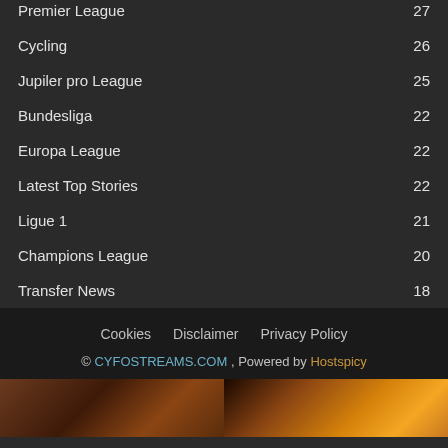Cycling 26
Jupiler pro League 25
Bundesliga 22
Europa League 22
Latest Top Stories 22
Ligue 1 21
Champions League 20
Transfer News 18
Cookies   Disclaimer   Privacy Policy
© CYFOSTREAMS.COM , Powered by Hostspicy
[Figure (photo): Two warm-toned photos side by side at bottom: left shows reddish-brown rocky/earthy texture, right shows golden swirling flame or light pattern]